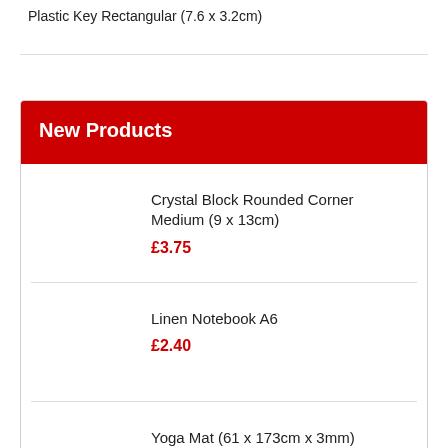Plastic Key Rectangular (7.6 x 3.2cm)
New Products
Crystal Block Rounded Corner Medium (9 x 13cm) £3.75
Linen Notebook A6 £2.40
Yoga Mat (61 x 173cm x 3mm) £10.50